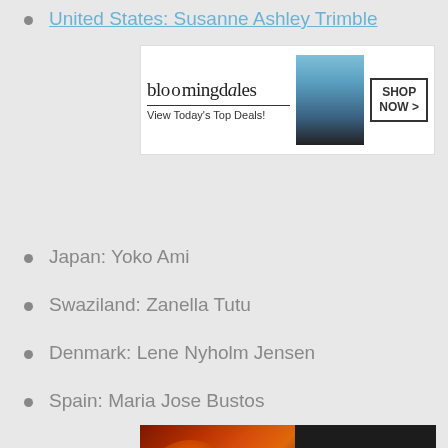United States: Susanne Ashley Trimble
[Figure (screenshot): Bloomingdale's advertisement banner with fashion model and 'View Today's Top Deals!' text and 'SHOP NOW >' button]
Japan: Yoko Ami
Swaziland: Zanella Tutu
Denmark: Lene Nyholm Jensen
Spain: Maria Jose Bustos
[Figure (screenshot): Seamless food delivery advertisement with pizza image, Seamless logo, and 'ORDER NOW' button]
Brazil: Carmen Carolina Baldein
Germany: Birgit Wiemann
We use cookies on our website to give you the most relevant experience by remembering your preferences and repeat visits. By clicking “Accept”, you consent to the use of ALL the cookies.
Do not sell my personal information.
[Figure (screenshot): Cookie settings buttons (Cookie Settings, Accept) and CLOSE button, with second Seamless ad banner below]